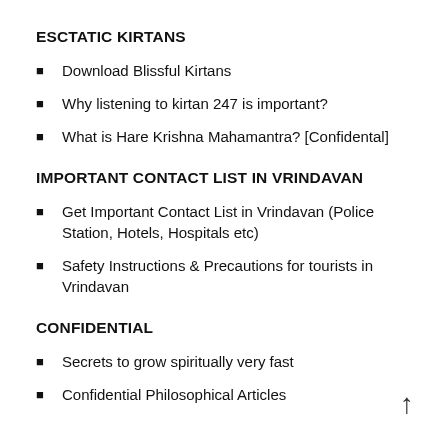ESCTATIC KIRTANS
Download Blissful Kirtans
Why listening to kirtan 247 is important?
What is Hare Krishna Mahamantra? [Confidental]
IMPORTANT CONTACT LIST IN VRINDAVAN
Get Important Contact List in Vrindavan (Police Station, Hotels, Hospitals etc)
Safety Instructions & Precautions for tourists in Vrindavan
CONFIDENTIAL
Secrets to grow spiritually very fast
Confidential Philosophical Articles